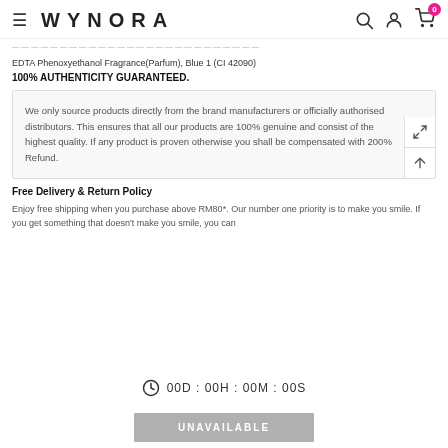WYNORA
EDTA Phenoxyethanol Fragrance(Parfum), Blue 1 (CI 42090)
100% AUTHENTICITY GUARANTEED.
We only source products directly from the brand manufacturers or officially authorised distributors. This ensures that all our products are 100% genuine and consist of the highest quality. If any product is proven otherwise you shall be compensated with 200% Refund.
Free Delivery & Return Policy
Enjoy free shipping when you purchase above RM80*. Our number one priority is to make you smile. If you get something that doesn't make you smile, you can
00D : 00H : 00M : 00S
UNAVAILABLE